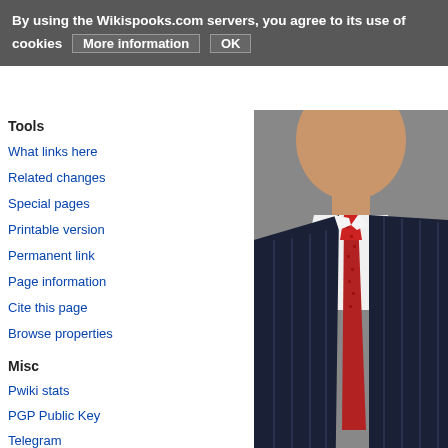By using the Wikispooks.com servers, you agree to its use of cookies   More information   OK
Tools
What links here
Related changes
Special pages
Printable version
Permanent link
Page information
Cite this page
Browse properties
Misc
Pwiki stats
PGP Public Key
Telegram
Twitter
New Reddit
[Figure (photo): Man in dark pinstripe suit with red tie, cropped photo showing neck/chest/shoulders area with © PA watermark]
| Born | 1950-01-05 | Liverpool, United Kingdom |
| Alma mater | Gonville and Caius College Cambridge, University College London |
| Party | Labour |
Attorney General for England and Wales
In office